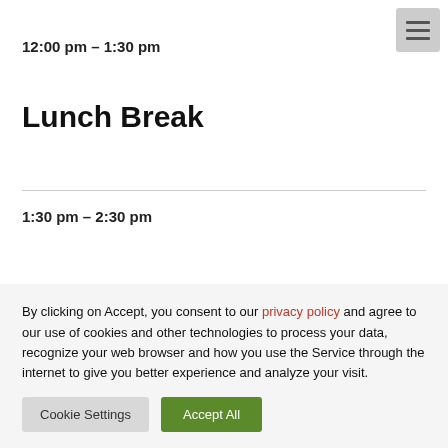12:00 pm – 1:30 pm
Lunch Break
1:30 pm – 2:30 pm
By clicking on Accept, you consent to our privacy policy and agree to our use of cookies and other technologies to process your data, recognize your web browser and how you use the Service through the internet to give you better experience and analyze your visit.